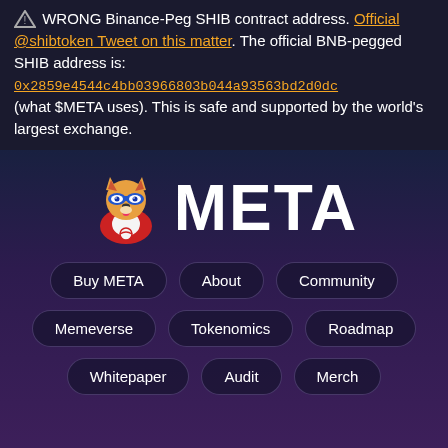WRONG Binance-Peg SHIB contract address. Official @shibtoken Tweet on this matter. The official BNB-pegged SHIB address is: 0x2859e4544c4bb03966803b044a93563bd2d0dc (what $META uses). This is safe and supported by the world's largest exchange.
[Figure (logo): META token logo: Shiba Inu dog mascot with superhero mask in red and white costume, next to large bold white text 'META']
Buy META
About
Community
Memeverse
Tokenomics
Roadmap
Whitepaper
Audit
Merch